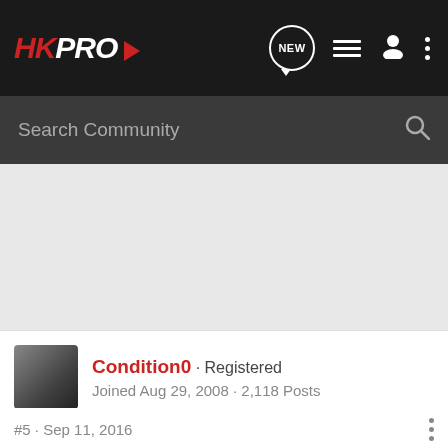HKPRO — navigation bar with NEW, list, user, and menu icons
Search Community
Condition0 · Registered
Joined Aug 29, 2008 · 2,118 Posts
#5 · Sep 11, 2016
Strabismus?
[Figure (logo): Charles Daly logo — serif black text on white background]